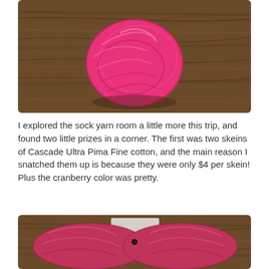[Figure (photo): A skein of bright pink/magenta yarn coiled and photographed on a wooden surface]
I explored the sock yarn room a little more this trip, and found two little prizes in a corner. The first was two skeins of Cascade Ultra Pima Fine cotton, and the main reason I snatched them up is because they were only $4 per skein! Plus the cranberry color was pretty.
[Figure (photo): Two skeins of cranberry/dark pink yarn laid out on a wooden surface, partially on a white label]